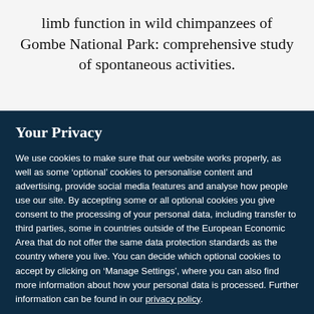limb function in wild chimpanzees of Gombe National Park: comprehensive study of spontaneous activities.
Your Privacy
We use cookies to make sure that our website works properly, as well as some ‘optional’ cookies to personalise content and advertising, provide social media features and analyse how people use our site. By accepting some or all optional cookies you give consent to the processing of your personal data, including transfer to third parties, some in countries outside of the European Economic Area that do not offer the same data protection standards as the country where you live. You can decide which optional cookies to accept by clicking on ‘Manage Settings’, where you can also find more information about how your personal data is processed. Further information can be found in our privacy policy.
Accept all cookies
Manage preferences